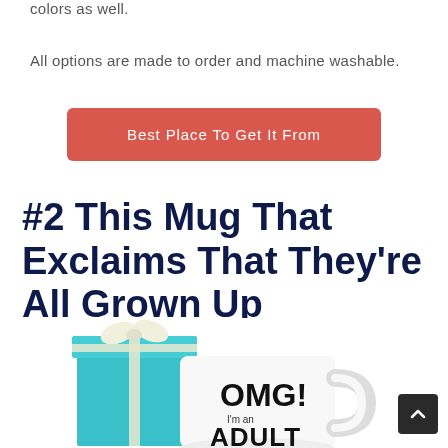colors as well.
All options are made to order and machine washable.
Best Place To Get It From
#2 This Mug That Exclaims That They're All Grown Up
[Figure (photo): A white mug with 'OMG! I'm an ADULT' text next to a teal gift box with white ribbon bow]